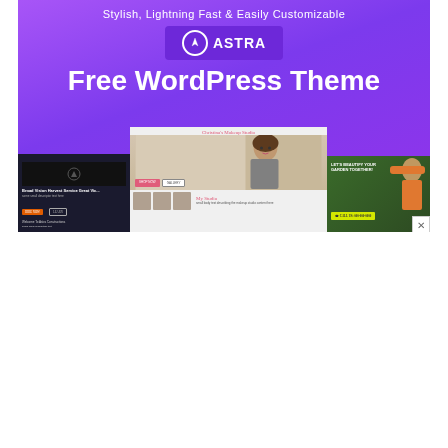[Figure (screenshot): Advertisement for Astra Free WordPress Theme. Purple gradient background with tagline 'Stylish, Lightning Fast & Easily Customizable', Astra logo, bold white text 'Free WordPress Theme', and three website template screenshots at the bottom: a dark construction site theme, a makeup studio theme with a woman's photo, and a garden services theme.]